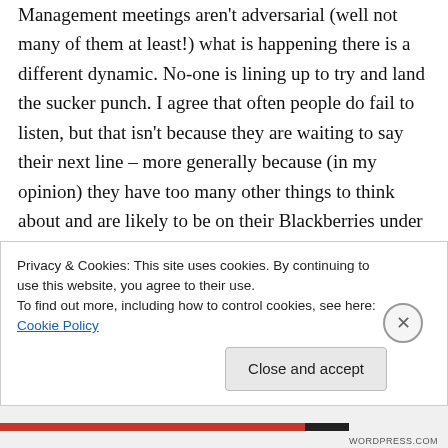Management meetings aren't adversarial (well not many of them at least!) what is happening there is a different dynamic. No-one is lining up to try and land the sucker punch. I agree that often people do fail to listen, but that isn't because they are waiting to say their next line – more generally because (in my opinion) they have too many other things to think about and are likely to be on their Blackberries under the table.
I'd argue that it isn't about the effectiveness of
Privacy & Cookies: This site uses cookies. By continuing to use this website, you agree to their use.
To find out more, including how to control cookies, see here: Cookie Policy